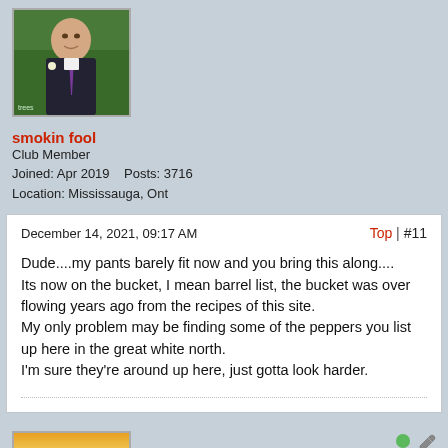[Figure (photo): Profile photo of smokin fool — man in dark suit with purple tie and boutonniere, outdoors]
smokin fool
Club Member
Joined: Apr 2019    Posts: 3716
Location: Mississauga, Ont
December 14, 2021, 09:17 AM
Top | #11
Dude....my pants barely fit now and you bring this along....
Its now on the bucket, I mean barrel list, the bucket was over flowing years ago from the recipes of this site.
My only problem may be finding some of the peppers you list up here in the great white north.
I'm sure they're around up here, just gotta look harder.
[Figure (photo): Outdoor sunset/twilight scene with colorful sky, blue tones, pool or water element visible]